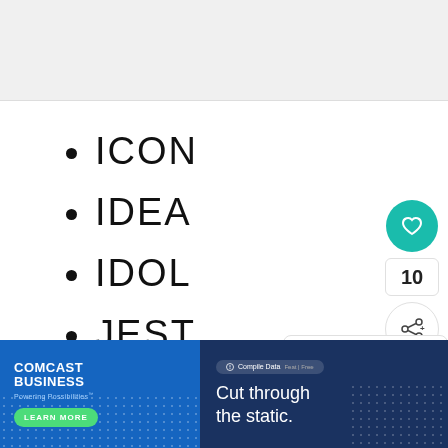[Figure (screenshot): Top grey banner/header area of a webpage]
ICON
IDEA
IDOL
JEST
JI...
[Figure (screenshot): Sidebar UI with teal heart button showing count 10, and share button]
[Figure (screenshot): What's Next widget showing '4 Letter Inspirational...' with thumbnail]
[Figure (screenshot): Comcast Business advertisement banner at bottom: 'Cut through the static.' with Learn More button]